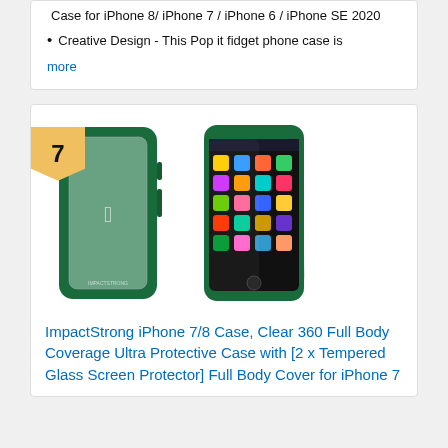Case for iPhone 8/ iPhone 7 / iPhone 6 / iPhone SE 2020
Creative Design - This Pop it fidget phone case is
more
[Figure (photo): Product photo showing ImpactStrong iPhone 7/8 case in dark green with clear back and tempered glass screen protector, shown from multiple angles. Number 7 badge in top left corner.]
ImpactStrong iPhone 7/8 Case, Clear 360 Full Body Coverage Ultra Protective Case with [2 x Tempered Glass Screen Protector] Full Body Cover for iPhone 7